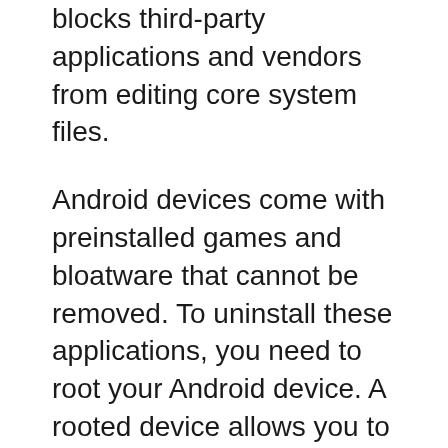blocks third-party applications and vendors from editing core system files.
Android devices come with preinstalled games and bloatware that cannot be removed. To uninstall these applications, you need to root your Android device. A rooted device allows you to remove unwanted apps, change boot animation, set CPU overclock and underclock, and manually update the system.
There may be instances where you do not want to install sudo on your device due to the fact that it voids its warranty. Recently, I had a problem installing a package that required rooted phones in my termux terminal. It had been successfully bypassed